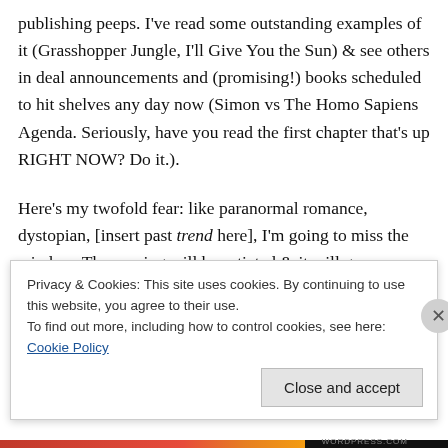publishing peeps. I've read some outstanding examples of it (Grasshopper Jungle, I'll Give You the Sun) & see others in deal announcements and (promising!) books scheduled to hit shelves any day now (Simon vs The Homo Sapiens Agenda. Seriously, have you read the first chapter that's up RIGHT NOW? Do it.).
Here's my twofold fear: like paranormal romance, dystopian, [insert past trend here], I'm going to miss the window. The craving will be satiated & it will go away. Honestly, how many of a certain type of book can the
Privacy & Cookies: This site uses cookies. By continuing to use this website, you agree to their use.
To find out more, including how to control cookies, see here: Cookie Policy
Close and accept